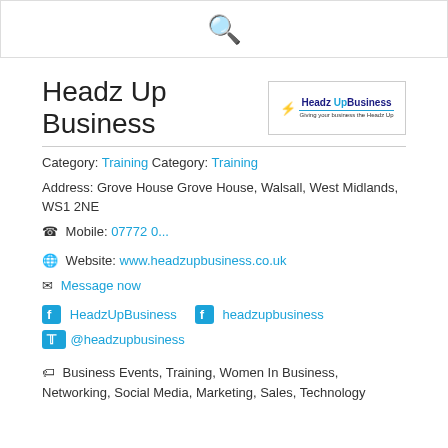[Figure (other): Search icon (magnifying glass) in blue inside a white box with border at the top of the page]
Headz Up Business
[Figure (logo): Headz Up Business logo with icon, blue arc, and tagline 'Giving your business the Headz Up']
Category: Training Category: Training
Address: Grove House Grove House, Walsall, West Midlands, WS1 2NE
Mobile: 07772 0...
Website: www.headzupbusiness.co.uk
Message now
HeadzUpBusiness   headzupbusiness
@headzupbusiness
Business Events, Training, Women In Business, Networking, Social Media, Marketing, Sales, Technology